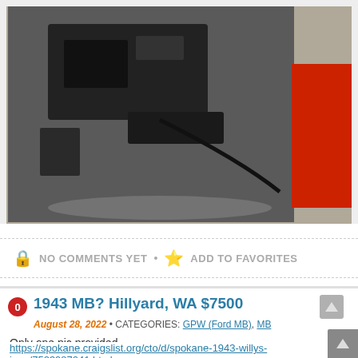[Figure (photo): Photograph of a dark-colored mechanical part or equipment on a concrete surface, with a red object visible at right edge]
NO COMMENTS YET • ADD TO FAVORITES
1943 MB? Hillyard, WA $7500
August 28, 2022 • CATEGORIES: GPW (Ford MB), MB
Only one pic provided.
https://spokane.craigslist.org/cto/d/spokane-1943-willys-jeep/7523987041.html
*4 inch suspension lift, aftermarket steel body, axles rebuilt by Shelly's automotive, 5:89 gears, F head motor, 2 inch body lift